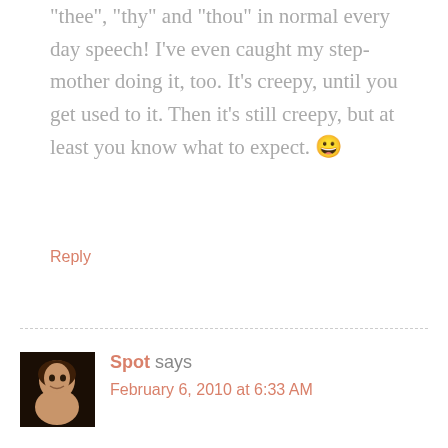“thee”, “thy” and “thou” in normal every day speech! I’ve even caught my step-mother doing it, too. It’s creepy, until you get used to it. Then it’s still creepy, but at least you know what to expect. 😃
Reply
Spot says
February 6, 2010 at 6:33 AM
Well you know my stance. Schools are ridiculous. The principal at the kid’s last school and myself were mortal enemies. Lu once got suspended for a whole